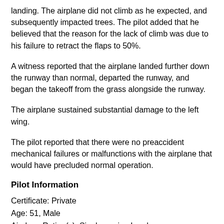landing. The airplane did not climb as he expected, and subsequently impacted trees. The pilot added that he believed that the reason for the lack of climb was due to his failure to retract the flaps to 50%.
A witness reported that the airplane landed further down the runway than normal, departed the runway, and began the takeoff from the grass alongside the runway.
The airplane sustained substantial damage to the left wing.
The pilot reported that there were no preaccident mechanical failures or malfunctions with the airplane that would have precluded normal operation.
Pilot Information
Certificate: Private
Age: 51, Male
Airplane Rating(s): Single-engine Land
Seat Occupied: Left
Other Aircraft Rating(s): None